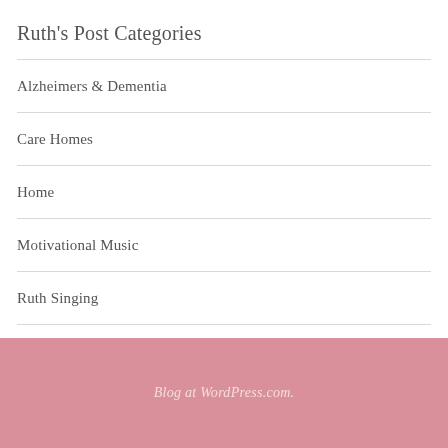Ruth's Post Categories
Alzheimers & Dementia
Care Homes
Home
Motivational Music
Ruth Singing
Singing For The Soul
Blog at WordPress.com.